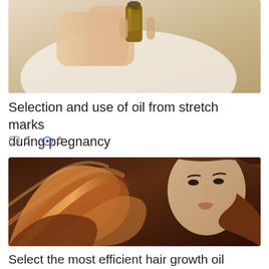[Figure (photo): Person holding a small golden/amber oil bottle against a light background, partial view of hands and torso in white clothing.]
Selection and use of oil from stretch marks during pregnancy
0  0
[Figure (photo): Woman with flowing brown hair against a dark brown background, hair dramatically spread around her, close-up beauty/hair product style photo.]
Select the most efficient hair growth oil
0  0